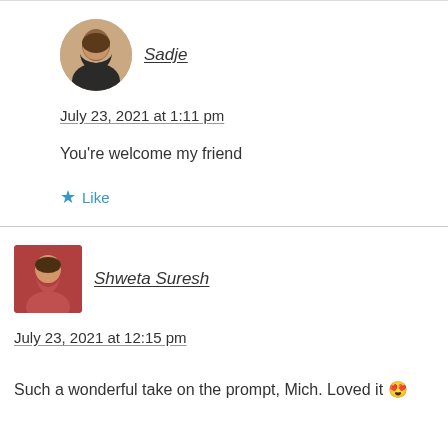[Figure (photo): Avatar photo of Sadje, a woman in a dark jacket]
Sadje
July 23, 2021 at 1:11 pm
You're welcome my friend
★ Like
[Figure (photo): Avatar photo of Shweta Suresh, a woman in a red top]
Shweta Suresh
July 23, 2021 at 12:15 pm
Such a wonderful take on the prompt, Mich. Loved it 😍